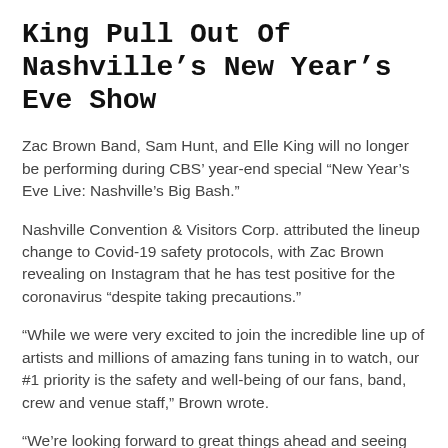King Pull Out Of Nashville’s New Year’s Eve Show
Zac Brown Band, Sam Hunt, and Elle King will no longer be performing during CBS’ year-end special “New Year’s Eve Live: Nashville’s Big Bash.”
Nashville Convention & Visitors Corp. attributed the lineup change to Covid-19 safety protocols, with Zac Brown revealing on Instagram that he has test positive for the coronavirus “despite taking precautions.”
“While we were very excited to join the incredible line up of artists and millions of amazing fans tuning in to watch, our #1 priority is the safety and well-being of our fans, band, crew and venue staff,” Brown wrote.
“We’re looking forward to great things ahead and seeing you all on our tour next year,” he added. “We wish everyone a safe, healthy and happy 2022!”
According to A... [continues]